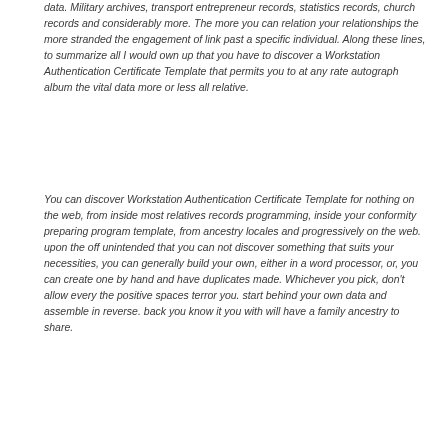data. Military archives, transport entrepreneur records, statistics records, church records and considerably more. The more you can relation your relationships the more stranded the engagement of link past a specific individual. Along these lines, to summarize all I would own up that you have to discover a Workstation Authentication Certificate Template that permits you to at any rate autograph album the vital data more or less all relative.
You can discover Workstation Authentication Certificate Template for nothing on the web, from inside most relatives records programming, inside your conformity preparing program template, from ancestry locales and progressively on the web. upon the off unintended that you can not discover something that suits your necessities, you can generally build your own, either in a word processor, or, you can create one by hand and have duplicates made. Whichever you pick, don't allow every the positive spaces terror you. start behind your own data and assemble in reverse. back you know it you with will have a family ancestry to share.